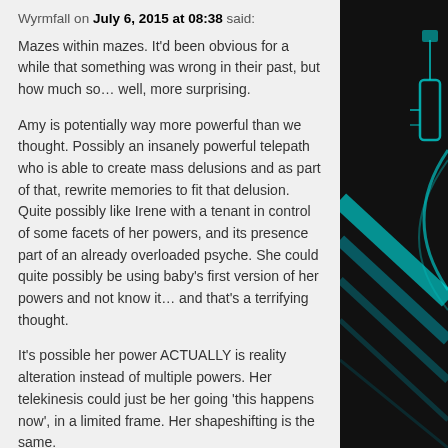Wyrmfall on July 6, 2015 at 08:38 said:
Mazes within mazes. It'd been obvious for a while that something was wrong in their past, but how much so… well, more surprising.
Amy is potentially way more powerful than we thought. Possibly an insanely powerful telepath who is able to create mass delusions and as part of that, rewrite memories to fit that delusion. Quite possibly like Irene with a tenant in control of some facets of her powers, and its presence part of an already overloaded psyche. She could quite possibly be using baby's first version of her powers and not know it… and that's a terrifying thought.
It's possible her power ACTUALLY is reality alteration instead of multiple powers. Her telekinesis could just be her going 'this happens now', in a limited frame. Her shapeshifting is the same.